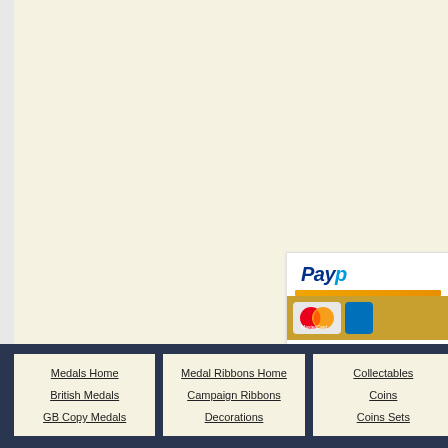[Figure (logo): PayPal payment widget with MasterCard logo, partially visible on right side of page]
UK Postage & Packing | Re...
We do not sell 'toys', our products are not su...
Collectors Centre ...
North Yorks...
Medals Home
British Medals
GB Copy Medals
Medal Ribbons Home
Campaign Ribbons
Decorations
Collectables
Coins
Coins Sets